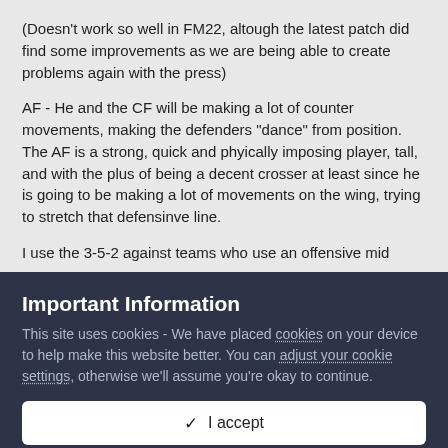(Doesn't work so well in FM22, altough the latest patch did find some improvements as we are being able to create problems again with the press)
AF - He and the CF will be making a lot of counter movements, making the defenders "dance" from position. The AF is a strong, quick and phyically imposing player, tall, and with the plus of being a decent crosser at least since he is going to be making a lot of movements on the wing, trying to stretch that defensinve line.
I use the 3-5-2 against teams who use an offensive mid
3-4-3 vs 3-4-3 or 4-3-3
3-4-1-2 vs. 4-4-2 or lower league sides (switch back to the 3-5-2 if the
Important Information
This site uses cookies - We have placed cookies on your device to help make this website better. You can adjust your cookie settings, otherwise we'll assume you're okay to continue.
✓  I accept